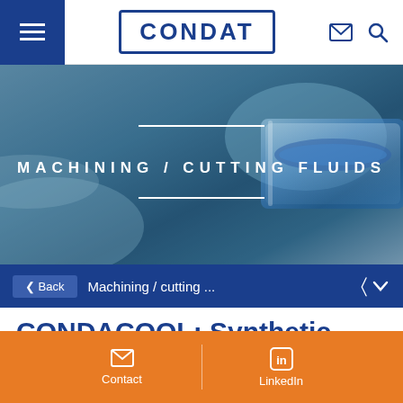CONDAT — navigation bar with hamburger menu, logo, email and search icons
[Figure (photo): Hero banner showing macro photograph of blue liquid in glass, with white decorative lines and text 'MACHINING / CUTTING FLUIDS' overlaid in white uppercase letters on a dark blue-grey background.]
‹ Back   Machining / cutting ...
CONDACOOL: Synthetic water-soluble oils
Contact   LinkedIn